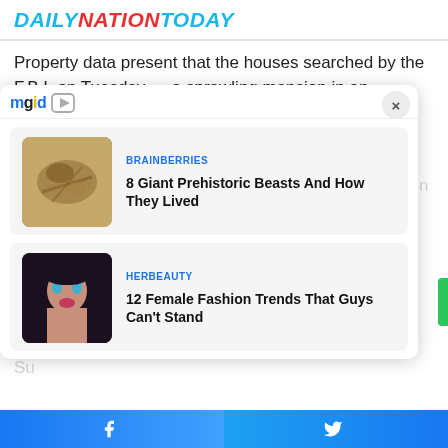DAILYNATIONTODAY
Property data present that the houses searched by the F.B.I. on Tuesday — a sprawling mansion in an prosperous neighbourhood in Northwest Washington and a three-story historic Greenwich Village townhouse that was as soon as a sp... Ma... res...
[Figure (screenshot): MGID widget overlay with two content recommendation cards: 1) BRAINBERRIES - '8 Giant Prehistoric Beasts And How They Lived' with fossil/stone image, 2) HERBEAUTY - '12 Female Fashion Trends That Guys Can't Stand' with woman portrait image. Close button (X) in top right.]
The... to... Mr...
Su...
Facebook share | Twitter share